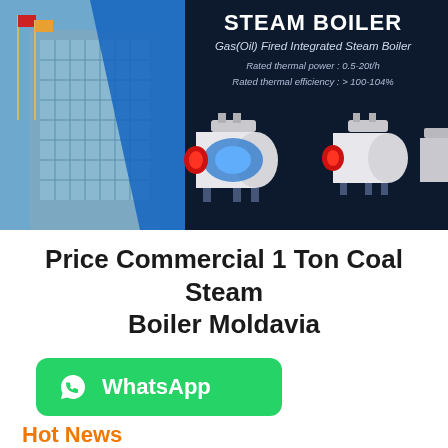[Figure (photo): Dark navy banner showing industrial steam boilers (Gas/Oil fired integrated steam boilers) on a dark background with a building photo on the left side. Text overlay reads: STEAM BOILER, Gas(Oil) Fired Integrated Steam Boiler, Rated thermal power: 0.5-20t/h, Rated thermal efficiency: > 100-104%]
Price Commercial 1 Ton Coal Steam Boiler Moldavia
[Figure (logo): WhatsApp button — green rounded rectangle with WhatsApp phone icon and text 'WhatsApp']
Hot News